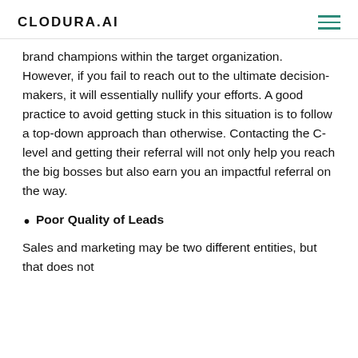CLODURA.AI
brand champions within the target organization. However, if you fail to reach out to the ultimate decision-makers, it will essentially nullify your efforts. A good practice to avoid getting stuck in this situation is to follow a top-down approach than otherwise. Contacting the C-level and getting their referral will not only help you reach the big bosses but also earn you an impactful referral on the way.
Poor Quality of Leads
Sales and marketing may be two different entities, but that does not